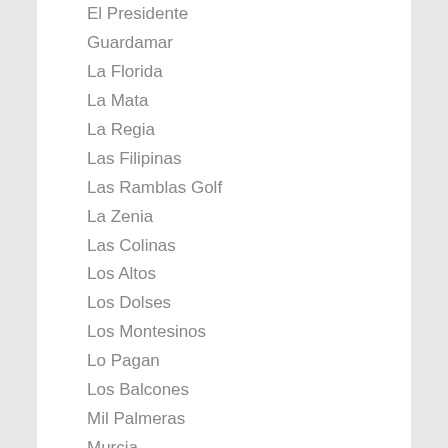El Presidente
Guardamar
La Florida
La Mata
La Regia
Las Filipinas
Las Ramblas Golf
La Zenia
Las Colinas
Los Altos
Los Dolses
Los Montesinos
Lo Pagan
Los Balcones
Mil Palmeras
Murcia
Orihuela
Pilar De La Horadada
Playa Flamenca